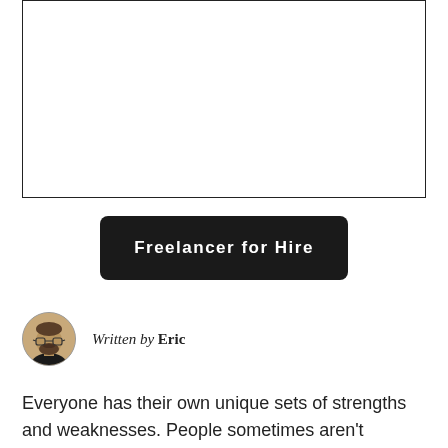[Figure (other): Empty white box with a thin border, representing a placeholder image or advertisement area]
Freelancer for Hire
[Figure (photo): Circular author avatar showing a bearded man with glasses against a light background]
Written by Eric
Everyone has their own unique sets of strengths and weaknesses. People sometimes aren't content with